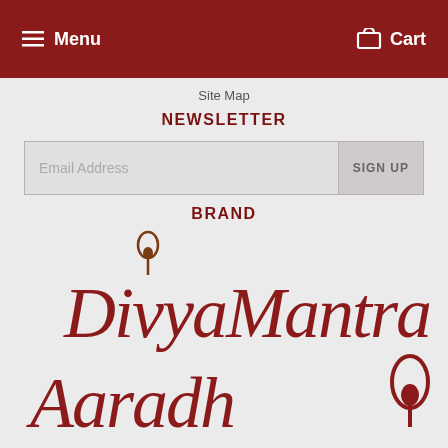Menu   Cart
Site Map
NEWSLETTER
Email Address  SIGN UP
BRAND
[Figure (logo): DivyaMantra brand logo in dark red cursive text with a lotus/flame symbol, followed by partial text below]